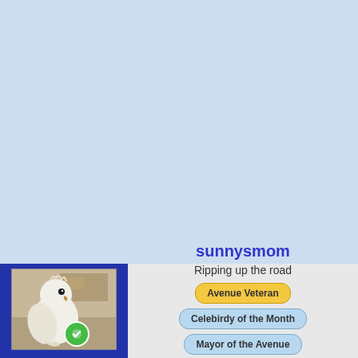[Figure (screenshot): Light blue background area filling the upper portion of the page]
[Figure (photo): Profile photo of a white bird (cockatoo or similar) in a dark blue sidebar column with a green online indicator icon]
sunnysmom
Ripping up the road
Avenue Veteran
Celebirdy of the Month
Mayor of the Avenue
Avenue Spotlight Award